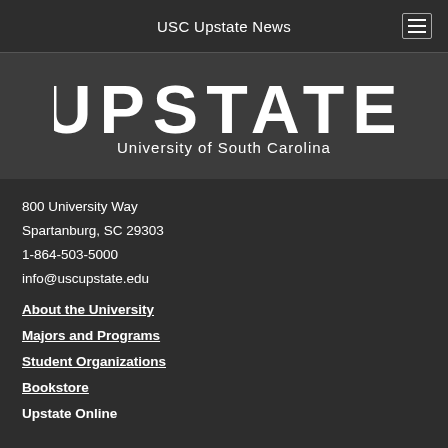USC Upstate News
[Figure (logo): USC Upstate logo — large bold white text 'UPSTATE' with 'University of South Carolina' below on dark background]
800 University Way
Spartanburg, SC 29303
1-864-503-5000
info@uscupstate.edu
About the University
Majors and Programs
Student Organizations
Bookstore
Upstate Online